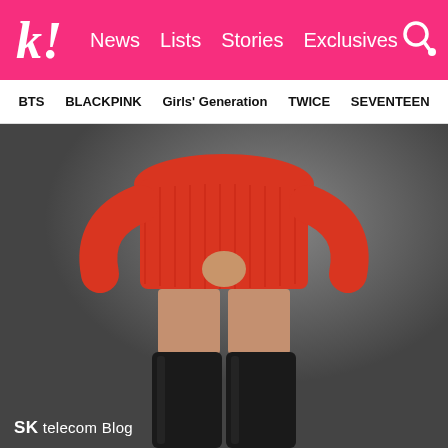k! News  Lists  Stories  Exclusives
BTS  BLACKPINK  Girls' Generation  TWICE  SEVENTEEN
[Figure (photo): Person wearing a red ribbed knit mini dress and tall black over-the-knee boots, posed against a dark grey background. Only the torso and legs are visible. Watermark reads 'SK telecom Blog' in the bottom left.]
SK telecom Blog